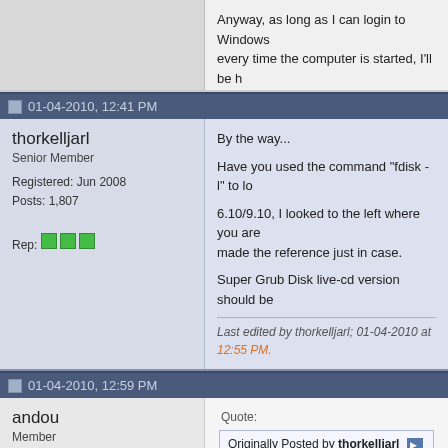Anyway, as long as I can login to Windows every time the computer is started, I'll be h
01-04-2010, 12:41 PM
thorkelljarl
Senior Member

Registered: Jun 2008
Posts: 1,807

Rep: [3 green dots]
By the way...

Have you used the command "fdisk -l" to lo

6.10/9.10, I looked to the left where you are made the reference just in case.

Super Grub Disk live-cd version should be

Last edited by thorkelljarl; 01-04-2010 at 12:55 PM.
01-04-2010, 12:59 PM
andou
Member

Registered: Jul 2007
Location: Seoul, S. Korea
Distribution: Ubuntu 9.10
Posts: 44

Original Poster
Rep: [1 green dot]
Quote:
Originally Posted by thorkelljarl ▶
Have you used the command "fdisk -l"

Not sure what that's supposed to return, if [/QUOTE]

Quote:
Originally Posted by thorkelljarl